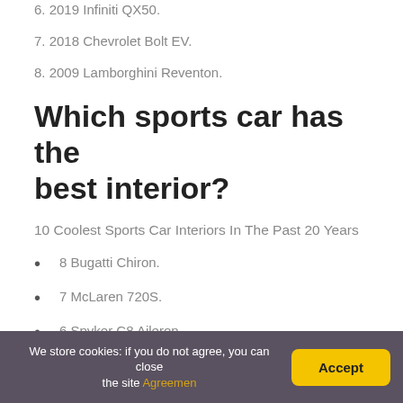6. 2019 Infiniti QX50.
7. 2018 Chevrolet Bolt EV.
8. 2009 Lamborghini Reventon.
Which sports car has the best interior?
10 Coolest Sports Car Interiors In The Past 20 Years
8 Bugatti Chiron.
7 McLaren 720S.
6 Spyker C8 Aileron.
5 Porsche 911 Turbo S.
We store cookies: if you do not agree, you can close the site Agreemen    Accept